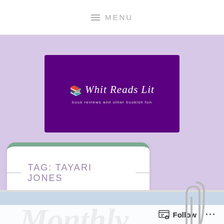MENU
[Figure (logo): Whit Reads Lit logo — purple banner with script text 'Whit Reads Lit' and subtitle 'book reviews and other bookish fun']
TAG: TAYARI JONES
[Figure (photo): Article preview image with 'Monthly' in large cursive script over a light blue wooden background, with a paper clip graphic in upper right corner]